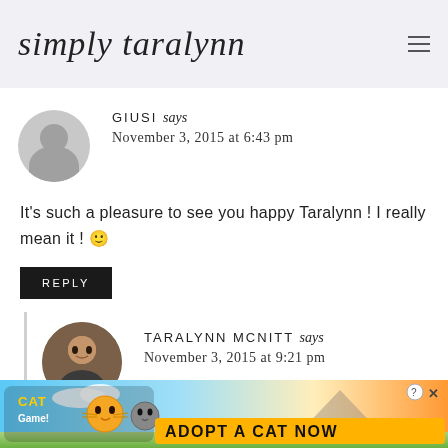simply taralynn
GIUSI says
November 3, 2015 at 6:43 pm
It's such a pleasure to see you happy Taralynn ! I really mean it ! 🙂
REPLY
TARALYNN MCNITT says
November 3, 2015 at 9:21 pm
[Figure (illustration): Advertisement banner for a cat mobile game showing cartoon cats with text ADOPT A CAT NOW]